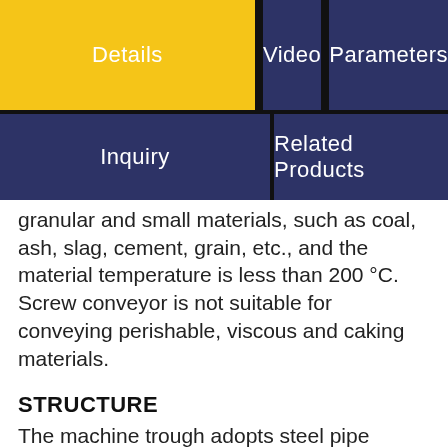Details | Video | Parameters | Inquiry | Related Products
granular and small materials, such as coal, ash, slag, cement, grain, etc., and the material temperature is less than 200 °C. Screw conveyor is not suitable for conveying perishable, viscous and caking materials.
STRUCTURE
The machine trough adopts steel pipe conveying cylinder, which has large rigidity, good sealing performance, no leakage, and improvement working environment.
The motor is directly connected with colloidal-pin wheel reducer, with large power, low noise,